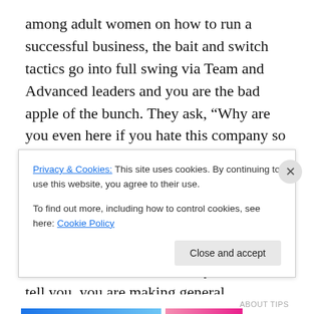among adult women on how to run a successful business, the bait and switch tactics go into full swing via Team and Advanced leaders and you are the bad apple of the bunch. They ask, “Why are you even here if you hate this company so much?” They are very, very good at twisting words. In one corner, you have those who say you are intentionally writing negative posts to constantly complain, and it seems to be only leaders who bark this statement. They will also tell you, you are making general statements that are just not true. Consultants are too scared to speak in your defense because they know the repercussions if
Privacy & Cookies: This site uses cookies. By continuing to use this website, you agree to their use.
To find out more, including how to control cookies, see here: Cookie Policy